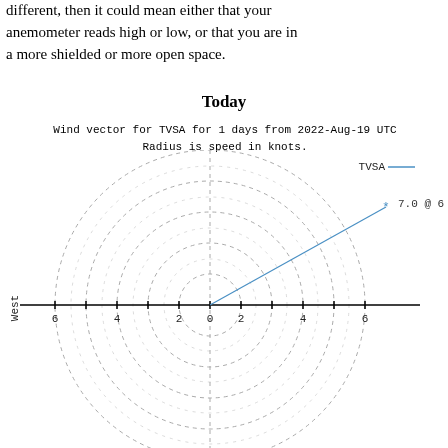different, then it could mean either that your anemometer reads high or low, or that you are in a more shielded or more open space.
Today
Wind vector for TVSA for 1 days from 2022-Aug-19 UTC
Radius is speed in knots.
[Figure (continuous-plot): Polar/radar wind vector chart showing a wind vector for TVSA. The chart has concentric dashed circles, crosshairs, with West labeled on left axis. X-axis labeled from -6 to 6 and y-axis partially visible. A blue line (TVSA legend) extends from center (0,0) toward upper-right direction with label '7.0 @ 6' near the arrow tip. Legend shows TVSA with a blue line.]